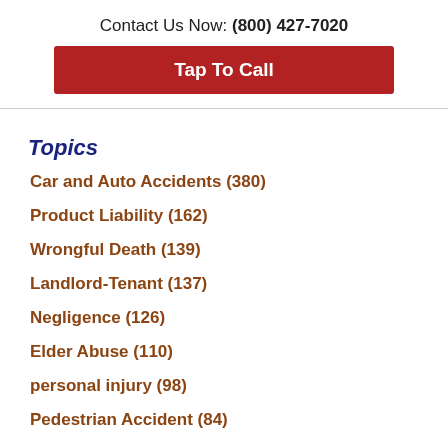Contact Us Now: (800) 427-7020
Tap To Call
Topics
Car and Auto Accidents (380)
Product Liability (162)
Wrongful Death (139)
Landlord-Tenant (137)
Negligence (126)
Elder Abuse (110)
personal injury (98)
Pedestrian Accident (84)